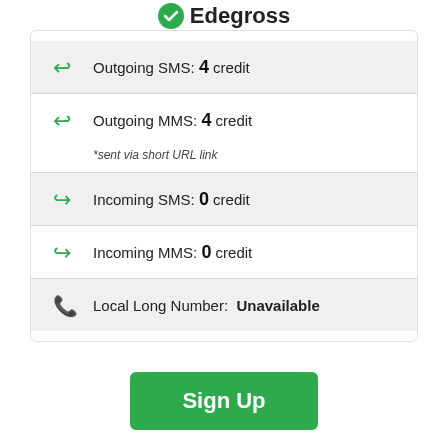Edegross
Outgoing SMS: 4 credit
Outgoing MMS: 4 credit *sent via short URL link
Incoming SMS: 0 credit
Incoming MMS: 0 credit
Local Long Number: Unavailable
Sign Up